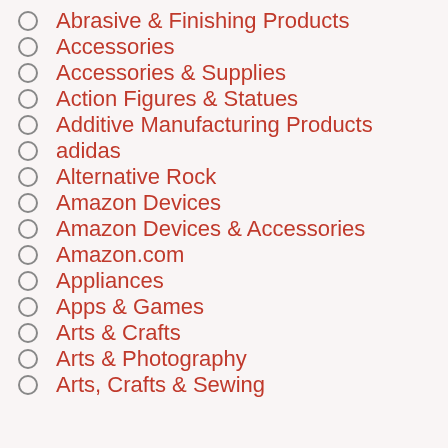Abrasive & Finishing Products
Accessories
Accessories & Supplies
Action Figures & Statues
Additive Manufacturing Products
adidas
Alternative Rock
Amazon Devices
Amazon Devices & Accessories
Amazon.com
Appliances
Apps & Games
Arts & Crafts
Arts & Photography
Arts, Crafts & Sewing